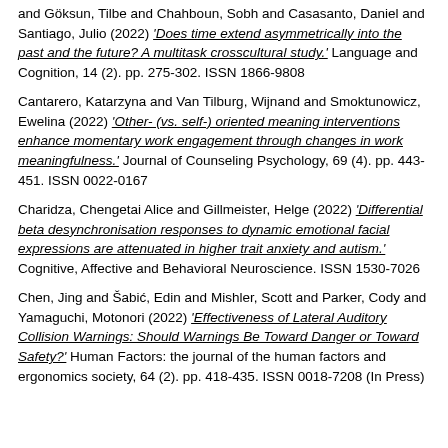and Göksun, Tilbe and Chahboun, Sobh and Casasanto, Daniel and Santiago, Julio (2022) 'Does time extend asymmetrically into the past and the future? A multitask crosscultural study.' Language and Cognition, 14 (2). pp. 275-302. ISSN 1866-9808
Cantarero, Katarzyna and Van Tilburg, Wijnand and Smoktunowicz, Ewelina (2022) 'Other- (vs. self-) oriented meaning interventions enhance momentary work engagement through changes in work meaningfulness.' Journal of Counseling Psychology, 69 (4). pp. 443-451. ISSN 0022-0167
Charidza, Chengetai Alice and Gillmeister, Helge (2022) 'Differential beta desynchronisation responses to dynamic emotional facial expressions are attenuated in higher trait anxiety and autism.' Cognitive, Affective and Behavioral Neuroscience. ISSN 1530-7026
Chen, Jing and Šabić, Edin and Mishler, Scott and Parker, Cody and Yamaguchi, Motonori (2022) 'Effectiveness of Lateral Auditory Collision Warnings: Should Warnings Be Toward Danger or Toward Safety?' Human Factors: the journal of the human factors and ergonomics society, 64 (2). pp. 418-435. ISSN 0018-7208 (In Press)